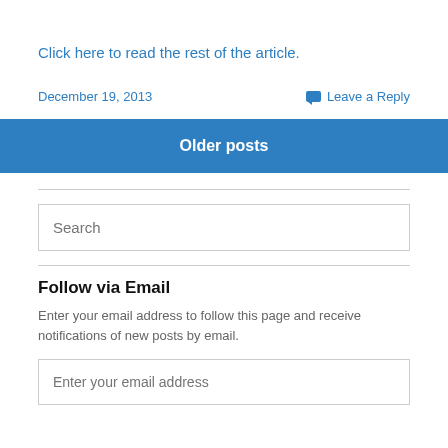Click here to read the rest of the article.
December 19, 2013
Leave a Reply
Older posts
Search
Follow via Email
Enter your email address to follow this page and receive notifications of new posts by email.
Enter your email address